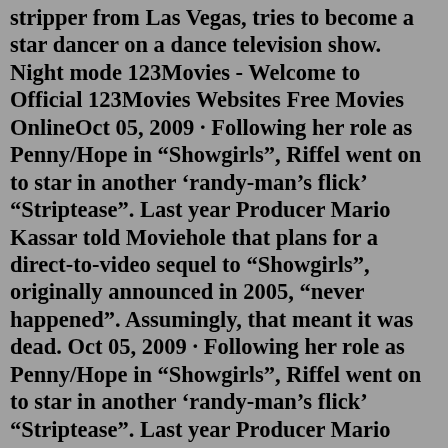stripper from Las Vegas, tries to become a star dancer on a dance television show. Night mode 123Movies - Welcome to Official 123Movies Websites Free Movies OnlineOct 05, 2009 · Following her role as Penny/Hope in “Showgirls”, Riffel went on to star in another ‘randy-man’s flick’ “Striptease”. Last year Producer Mario Kassar told Moviehole that plans for a direct-to-video sequel to “Showgirls”, originally announced in 2005, “never happened”. Assumingly, that meant it was dead. Oct 05, 2009 · Following her role as Penny/Hope in “Showgirls”, Riffel went on to star in another ‘randy-man’s flick’ “Striptease”. Last year Producer Mario Kassar told Moviehole that plans for a direct-to-video sequel to “Showgirls”, originally announced in 2005, “never happened”. Assumingly, that meant it was dead. Again! Las Vegas stripper, Penny Slot (Rena Riffel), sets out on an adventure to become the star dancer on a dance television show. With stars in her eyes, she tries to find the pot of gold at the. Watched. To watch. Options. Actors Similar movies. If you want to stream